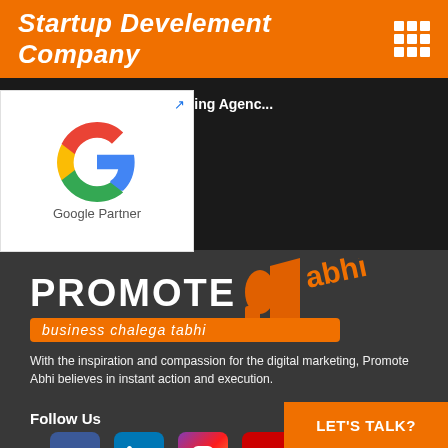Startup Develement Company
Search Engine Marketing Agenc...
e Marketing Compa...
[Figure (logo): Google Partner logo with Google G icon and 'Google Partner' text on white card]
[Figure (logo): Promote Abhi logo with megaphone icon and tagline 'business chalega tabhi']
With the inspiration and compassion for the digital marketing, Promote Abhi believes in instant action and execution.
Follow Us
[Figure (infographic): Social media icons: Facebook, LinkedIn, Instagram, YouTube]
LET'S TALK?